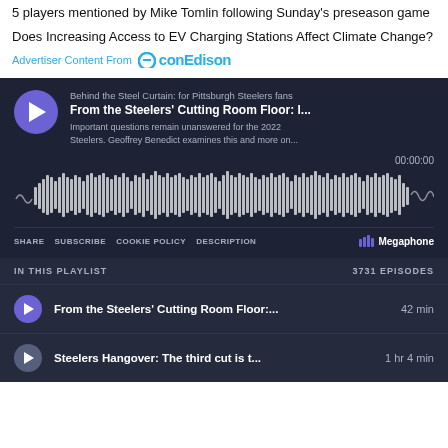5 players mentioned by Mike Tomlin following Sunday's preseason game
Does Increasing Access to EV Charging Stations Affect Climate Change?
Advertiser Content From conEdison
[Figure (screenshot): Podcast player embedded widget for 'Behind the Steel Curtain: for Pittsburgh Steelers fans' — episode 'From the Steelers\u2019 Cutting Room Floor: I...' with audio waveform, time 00:00:00, controls: SHARE, SUBSCRIBE, COOKIE POLICY, DESCRIPTION, Megaphone logo. Playlist shows IN THIS PLAYLIST / 3731 EPISODES with two items listed.]
From the Steelers' Cutting Room Floor:... 42 min
Steelers Hangover: The third cut is t... 1 hr 4 min